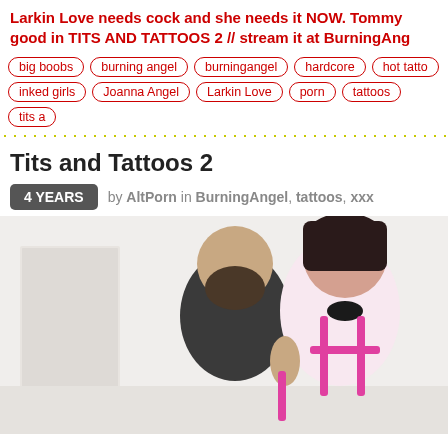Larkin Love needs cock and she needs it NOW. Tommy good in TITS AND TATTOOS 2 // stream it at BurningAng
big boobs
burning angel
burningangel
hardcore
hot tatto
inked girls
Joanna Angel
Larkin Love
porn
tattoos
tits a
Tits and Tattoos 2
4 YEARS  by AltPorn in BurningAngel, tattoos, xxx
[Figure (photo): A man with a beard and a woman with dark hair wearing a pink harness and collar, white background, close-up intimate scene.]